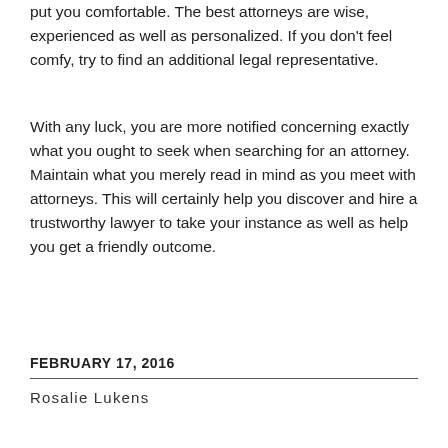put you comfortable. The best attorneys are wise, experienced as well as personalized. If you don’t feel comfy, try to find an additional legal representative.
With any luck, you are more notified concerning exactly what you ought to seek when searching for an attorney. Maintain what you merely read in mind as you meet with attorneys. This will certainly help you discover and hire a trustworthy lawyer to take your instance as well as help you get a friendly outcome.
FEBRUARY 17, 2016
Rosalie Lukens